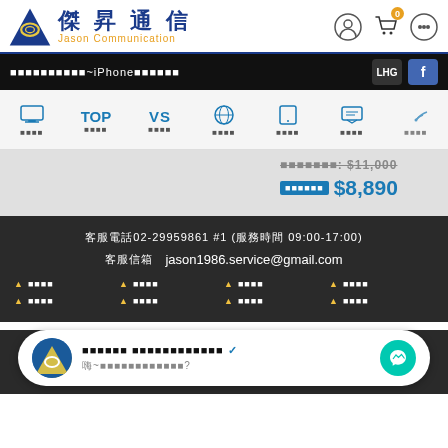傑昇通信 Jason Communication
■■■■■■■■■■~iPhone■■■■■■
[Figure (screenshot): Navigation menu with icons: 比較推薦, TOP排行, VS比較, 全球通信, 平板專區, 訊息方案, 無線寬頻]
■■■■■■■: $11,000
■■■■■■: $8,890
客服電話02-29959861 #1 (服務時間 09:00-17:00)
客服信箱  jason1986.service@gmail.com
▲ ■■■■
▲ ■■■■
▲ ■■■■
▲ ■■■■
▲ ■■■■
▲ ■■■■
▲ ■■■■
▲ ■■■■
■■■■■■ ■■■■■■■■■■■■ ✓
嗨~■■■■■■■■■■■■?